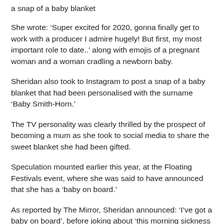a snap of a baby blanket
She wrote: ‘Super excited for 2020, gonna finally get to work with a producer I admire hugely! But first, my most important role to date..’ along with emojis of a pregnant woman and a woman cradling a newborn baby.
Sheridan also took to Instagram to post a snap of a baby blanket that had been personalised with the surname ‘Baby Smith-Horn.’
The TV personality was clearly thrilled by the prospect of becoming a mum as she took to social media to share the sweet blanket she had been gifted.
Speculation mounted earlier this year, at the Floating Festivals event, where she was said to have announced that she has a ‘baby on board.’
As reported by The Mirror, Sheridan announced: ‘I’ve got a baby on board’, before joking about ‘this morning sickness lark’.